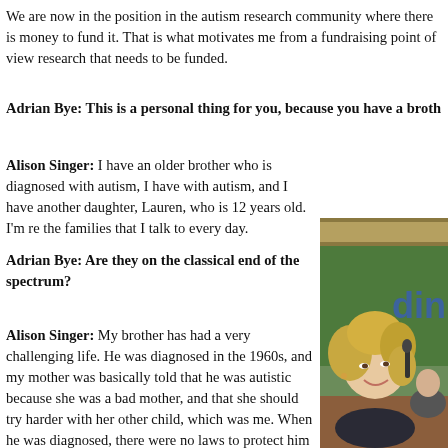We are now in the position in the autism research community where there is money to fund it. That is what motivates me from a fundraising point of view research that needs to be funded.
Adrian Bye: This is a personal thing for you, because you have a broth
Alison Singer: I have an older brother who is diagnosed with autism, I have with autism, and I have another daughter, Lauren, who is 12 years old. I'm re the families that I talk to every day.
Adrian Bye: Are they on the classical end of the spectrum?
Alison Singer: My brother has had a very challenging life. He was diagnosed in the 1960s, and my mother was basically told that he was autistic because she was a bad mother, and that she should try harder with her other child, which was me. When he was diagnosed, there were no laws to protect him or even send him to school. He never learned to speak, never learned to communicate in any way, and is severely challenged. I always wonder what his life
[Figure (photo): Photo of Alison Singer smiling, seated at a podium, with curly blonde hair, at what appears to be a public event with a green background.]